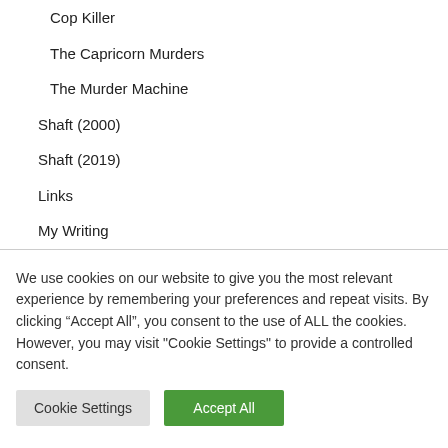Cop Killer
The Capricorn Murders
The Murder Machine
Shaft (2000)
Shaft (2019)
Links
My Writing
We use cookies on our website to give you the most relevant experience by remembering your preferences and repeat visits. By clicking “Accept All”, you consent to the use of ALL the cookies. However, you may visit "Cookie Settings" to provide a controlled consent.
Cookie Settings | Accept All